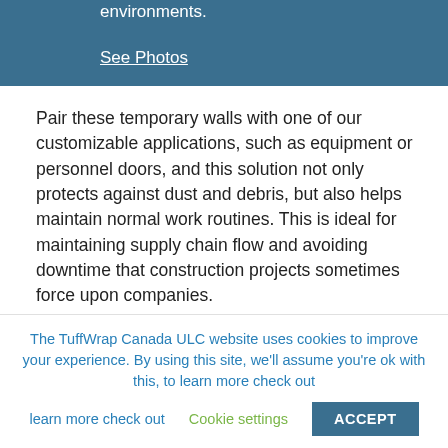environments.
See Photos
Pair these temporary walls with one of our customizable applications, such as equipment or personnel doors, and this solution not only protects against dust and debris, but also helps maintain normal work routines. This is ideal for maintaining supply chain flow and avoiding downtime that construction projects sometimes force upon companies.
This short video gives a brief demonstration of the functionality of a Pocket Door.
The TuffWrap Canada ULC website uses cookies to improve your experience. By using this site, we'll assume you're ok with this, to learn more check out
Cookie settings
ACCEPT